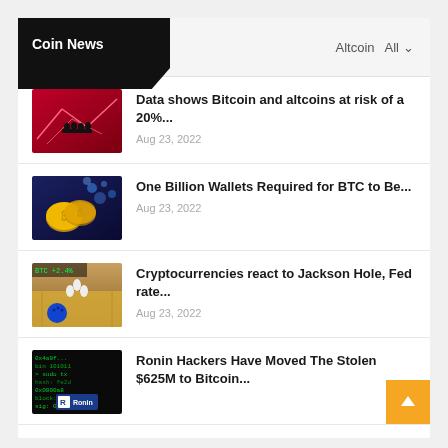Coin News
Altcoin   All ▾
[Figure (photo): Silhouettes of people standing on a platform against a red background with chart lines]
Data shows Bitcoin and altcoins at risk of a 20%...
Aug 23, 2022
[Figure (photo): Gold Bitcoin coins on dark blue background with digital lights]
One Billion Wallets Required for BTC to Be...
Aug 23, 2022
[Figure (photo): Bowling alley lane with pins and blue bowling ball, stock market tickers overlay]
Cryptocurrencies react to Jackson Hole, Fed rate...
Aug 23, 2022
[Figure (photo): Dark computer screen with green code and Ronin logo]
Ronin Hackers Have Moved The Stolen $625M to Bitcoin...